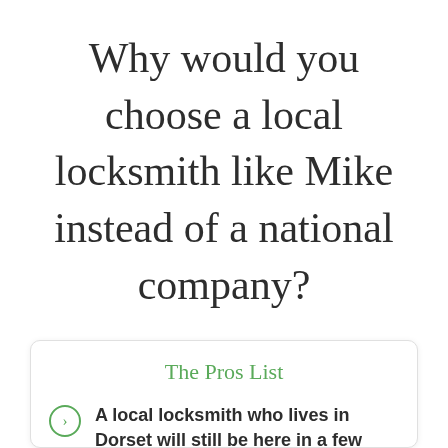Why would you choose a local locksmith like Mike instead of a national company?
The Pros List
A local locksmith who lives in Dorset will still be here in a few years...